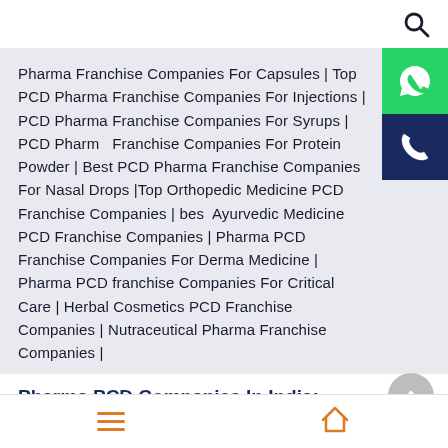[Figure (other): Search icon (magnifying glass) in top right corner]
Pharma Franchise Companies For Capsules | Top PCD Pharma Franchise Companies For Injections | PCD Pharma Franchise Companies For Syrups | PCD Pharma Franchise Companies For Protein Powder | Best PCD Pharma Franchise Companies For Nasal Drops |Top Orthopedic Medicine PCD Franchise Companies | best Ayurvedic Medicine PCD Franchise Companies | Pharma PCD Franchise Companies For Derma Medicine | Pharma PCD franchise Companies For Critical Care | Herbal Cosmetics PCD Franchise Companies | Nutraceutical Pharma Franchise Companies |
Pharma PCD Companies In India:-
[Figure (other): WhatsApp button (green background with WhatsApp logo) and phone call button (dark navy background with phone icon) on the right side]
[Figure (other): Up arrow circular button (grey) on the right side near section header]
Hamburger menu icon and home icon in bottom navigation bar